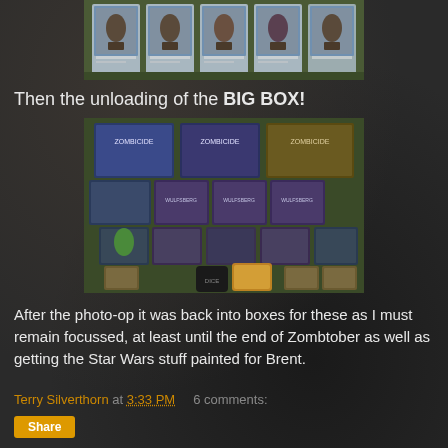[Figure (photo): Several blister packs of fantasy miniature figures displayed on a green surface, showing warriors/adventurers characters]
Then the unloading of the BIG BOX!
[Figure (photo): A large collection of Zombicide-style board game boxes and expansions spread out on a table, showing many game boxes and miniature bags arranged in a fan/arc pattern]
After the photo-op it was back into boxes for these as I must remain focussed, at least until the end of Zombtober as well as getting the Star Wars stuff painted for Brent.
Terry Silverthorn at 3:33 PM    6 comments: